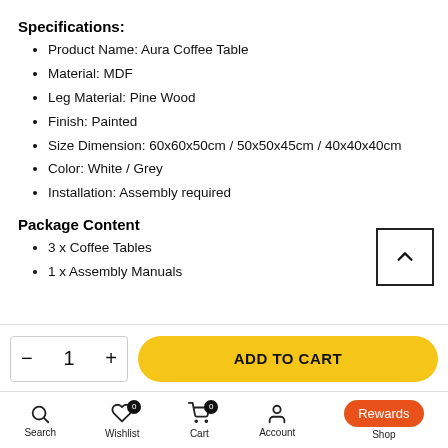Specifications:
Product Name: Aura Coffee Table
Material: MDF
Leg Material: Pine Wood
Finish: Painted
Size Dimension: 60x60x50cm / 50x50x45cm / 40x40x40cm
Color: White / Grey
Installation: Assembly required
Package Content
3 x Coffee Tables
1 x Assembly Manuals
- 1 + | ADD TO CART
Search  Wishlist 0  Cart 0  Account  Shop  Rewards